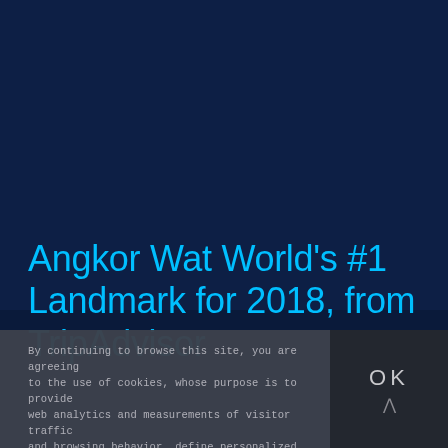Angkor Wat World's #1 Landmark for 2018, from TripAdvisor
By continuing to browse this site, you are agreeing to the use of cookies, whose purpose is to provide web analytics and measurements of visitor traffic and browsing behavior, define personalized services and offers tailored to your interests, and share data with, or redirect users from, third-party websites, including social networks.